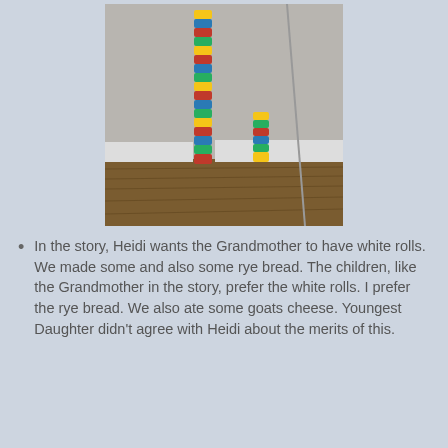[Figure (photo): Two towers made of stacked colorful LEGO-like bricks standing in a corner room with white walls and wooden floor. One tower is tall, the other is much shorter. Both have multicolored bricks in red, blue, yellow, green.]
In the story, Heidi wants the Grandmother to have white rolls. We made some and also some rye bread. The children, like the Grandmother in the story, prefer the white rolls. I prefer the rye bread. We also ate some goats cheese. Youngest Daughter didn't agree with Heidi about the merits of this.